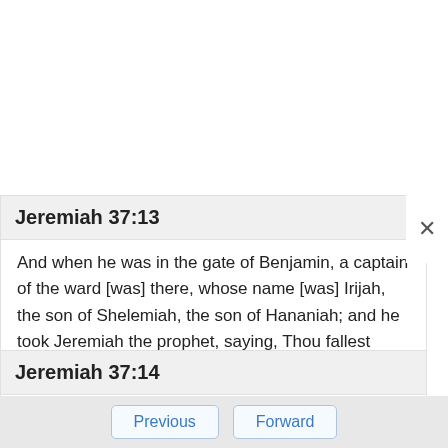Jeremiah 37:13
And when he was in the gate of Benjamin, a captain of the ward [was] there, whose name [was] Irijah, the son of Shelemiah, the son of Hananiah; and he took Jeremiah the prophet, saying, Thou fallest away to the Chaldeans.
Jeremiah 37:14
Then said Jeremiah, [It is] false; I fall not away to the Chaldeans. But he hearkened not to him: so